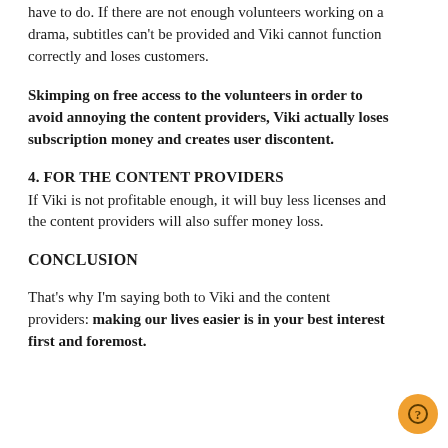have to do. If there are not enough volunteers working on a drama, subtitles can't be provided and Viki cannot function correctly and loses customers.
Skimping on free access to the volunteers in order to avoid annoying the content providers, Viki actually loses subscription money and creates user discontent.
4. FOR THE CONTENT PROVIDERS
If Viki is not profitable enough, it will buy less licenses and the content providers will also suffer money loss.
CONCLUSION
That's why I'm saying both to Viki and the content providers: making our lives easier is in your best interest first and foremost.